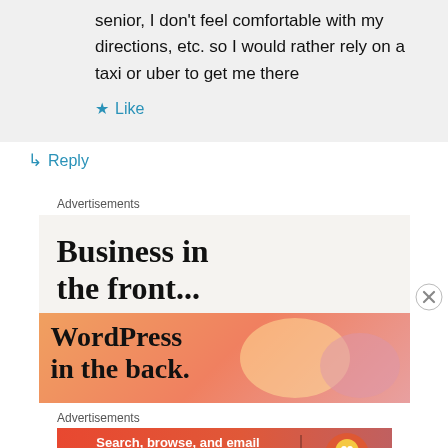senior, I don't feel comfortable with my directions, etc. so I would rather rely on a taxi or uber to get me there
★ Like
↳ Reply
Advertisements
[Figure (screenshot): Advertisement banner: 'Business in the front...' with WordPress branded orange/pink gradient showing 'in the back.' text]
Advertisements
[Figure (screenshot): DuckDuckGo advertisement: 'Search, browse, and email with more privacy. All in One Free App' with DuckDuckGo logo on dark background]